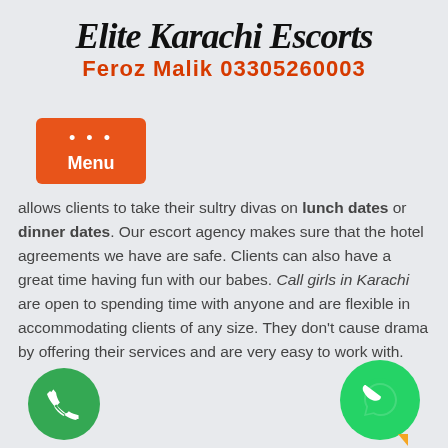[Figure (logo): Elite Karachi Escorts logo in cursive/italic bold font with 'Feroz Malik 03305260003' in red bold below]
[Figure (other): Orange hamburger menu button with three dots and 'Menu' label]
allows clients to take their sultry divas on lunch dates or dinner dates. Our escort agency makes sure that the hotel agreements we have are safe. Clients can also have a great time having fun with our babes. Call girls in Karachi are open to spending time with anyone and are flexible in accommodating clients of any size. They don't cause drama by offering their services and are very easy to work with.
[Figure (illustration): Green circle phone call icon at bottom left]
[Figure (illustration): Green WhatsApp icon circle at bottom right with yellow tail]